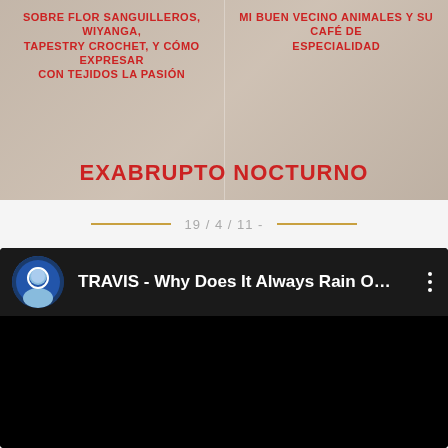SOBRE FLOR SANGUILLEROS, WIYANGA, TAPESTRY CROCHET, Y CÓMO EXPRESAR CON TEJIDOS LA PASIÓN
MI BUEN VECINO ANIMALES Y SU CAFÉ DE ESPECIALIDAD
EXABRUPTO NOCTURNO
19 / 4 / 11 -
[Figure (screenshot): YouTube video player showing 'TRAVIS - Why Does It Always Rain O...' with avatar thumbnail and three-dot menu icon. Video content area is black (paused/loading).]